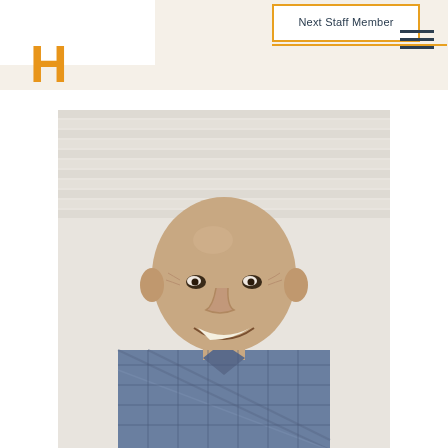Next Staff Member
[Figure (photo): Portrait photo of a bald, smiling middle-aged man wearing a blue and white checkered shirt, seated against a white brick wall background]